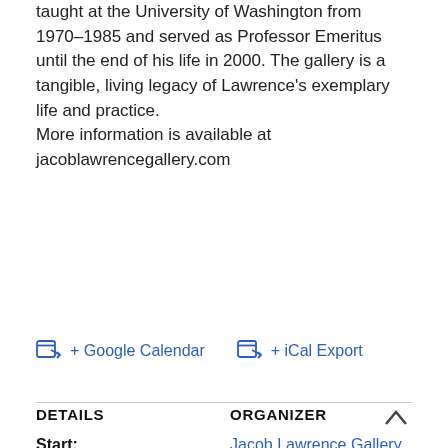taught at the University of Washington from 1970–1985 and served as Professor Emeritus until the end of his life in 2000. The gallery is a tangible, living legacy of Lawrence's exemplary life and practice.
More information is available at jacoblawrencegallery.com
+ Google Calendar
+ iCal Export
DETAILS
ORGANIZER
Start:
Jacob Lawrence Gallery